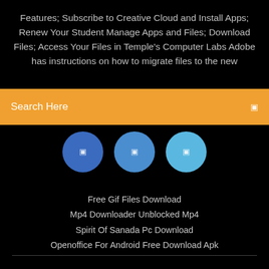Features; Subscribe to Creative Cloud and Install Apps; Renew Your Student Manage Apps and Files; Download Files; Access Your Files in Temple's Computer Labs Adobe has instructions on how to migrate files to the new
[Figure (screenshot): Orange search bar with text 'Search Here' and a small icon on the right]
[Figure (screenshot): Three blue circular icon buttons in a row on a black background]
Free Gif Files Download
Mp4 Downloader Unblocked Mp4
Spirit Of Sanada Pc Download
Openoffice For Android Free Download Apk